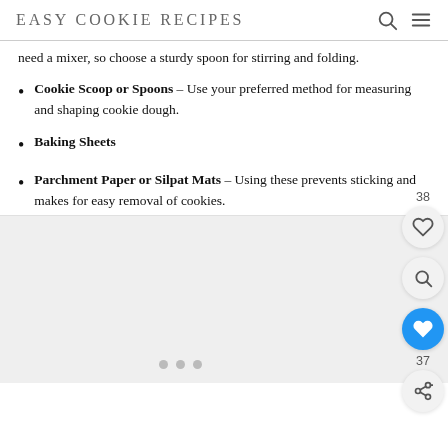EASY COOKIE RECIPES
need a mixer, so choose a sturdy spoon for stirring and folding.
Cookie Scoop or Spoons – Use your preferred method for measuring and shaping cookie dough.
Baking Sheets
Parchment Paper or Silpat Mats – Using these prevents sticking and makes for easy removal of cookies.
[Figure (photo): Image area with a light gray background, three navigation dots at the bottom, and social interaction buttons (heart count 38, heart, search, heart blue count 37, share) on the right side overlay.]